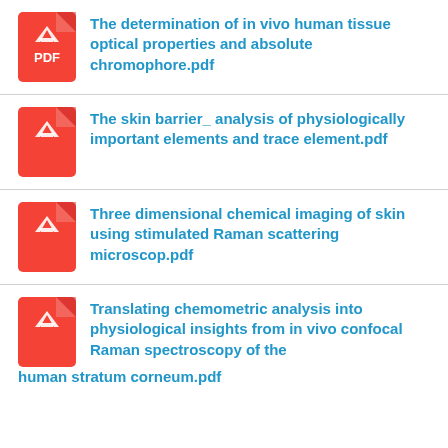The determination of in vivo human tissue optical properties and absolute chromophore.pdf
The skin barrier_ analysis of physiologically important elements and trace element.pdf
Three dimensional chemical imaging of skin using stimulated Raman scattering microscop.pdf
Translating chemometric analysis into physiological insights from in vivo confocal Raman spectroscopy of the human stratum corneum.pdf